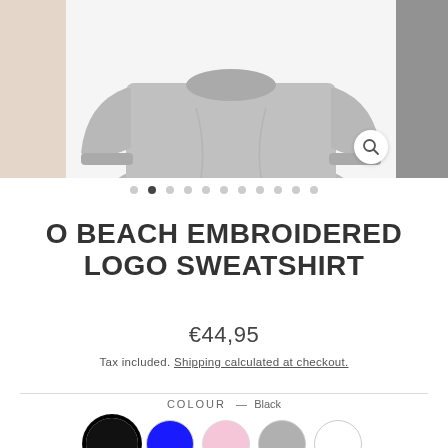[Figure (photo): Product photo of a grey sweatshirt (O Beach Embroidered Logo Sweatshirt), shown from the front/bottom, with left and right thumbnail/preview strips visible, and a zoom/search icon in the bottom-right of the main image.]
• • (active dot) • • • • • • • •
O BEACH EMBROIDERED LOGO SWEATSHIRT
€44,95
Tax included. Shipping calculated at checkout.
COLOUR — Black
[Figure (infographic): Five colour swatches: Black (selected, with ring outline), Blue, Pink, Gray, White]